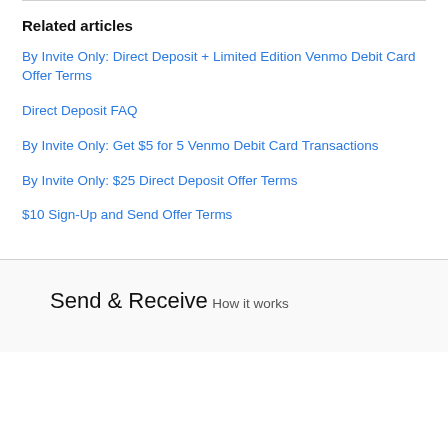Related articles
By Invite Only: Direct Deposit + Limited Edition Venmo Debit Card Offer Terms
Direct Deposit FAQ
By Invite Only: Get $5 for 5 Venmo Debit Card Transactions
By Invite Only: $25 Direct Deposit Offer Terms
$10 Sign-Up and Send Offer Terms
Send & Receive
How it works